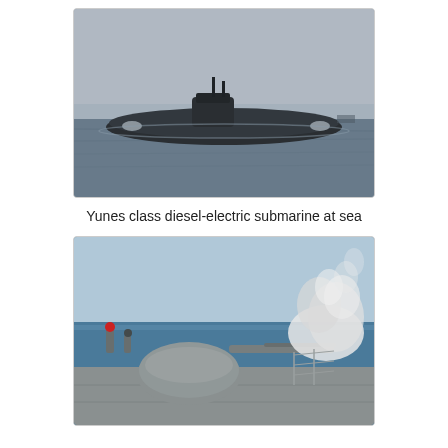[Figure (photo): Yunes class diesel-electric submarine on the surface of the sea, viewed from the side, with its conning tower visible and calm grey water surrounding it.]
Yunes class diesel-electric submarine at sea
[Figure (photo): Naval warship deck with a gun turret firing, producing a cloud of smoke/steam, viewed from the stern, with blue sea in the background.]